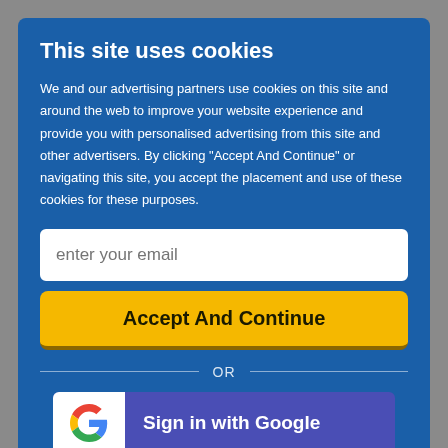This site uses cookies
We and our advertising partners use cookies on this site and around the web to improve your website experience and provide you with personalised advertising from this site and other advertisers. By clicking "Accept And Continue" or navigating this site, you accept the placement and use of these cookies for these purposes.
enter your email
Accept And Continue
OR
Sign in with Google